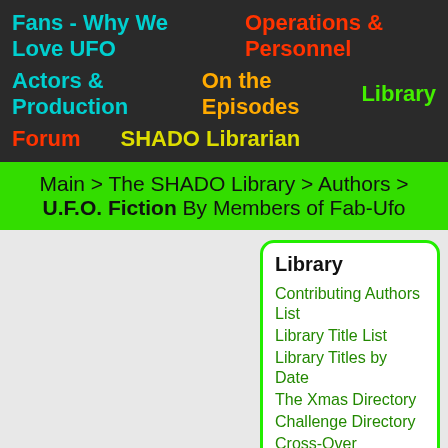Fans - Why We Love UFO | Operations & Personnel | Actors & Production | On the Episodes | Library | Forum | SHADO Librarian
Main > The SHADO Library > Authors > U.F.O. Fiction By Members of Fab-Ufo
Library
Contributing Authors List
Library Title List
Library Titles by Date
The Xmas Directory
Challenge Directory
Cross-Over Directory
Adults Only Directory
Resources